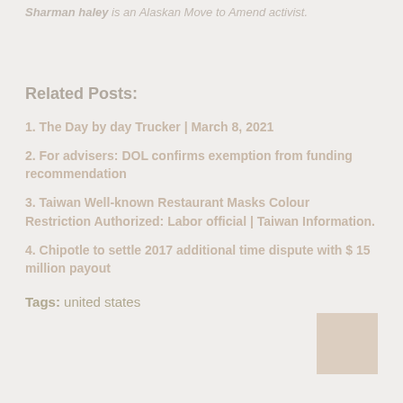Sharman haley is an Alaskan Move to Amend activist.
Related Posts:
1. The Day by day Trucker | March 8, 2021
2. For advisers: DOL confirms exemption from funding recommendation
3. Taiwan Well-known Restaurant Masks Colour Restriction Authorized: Labor official | Taiwan Information.
4. Chipotle to settle 2017 additional time dispute with $ 15 million payout
Tags: united states